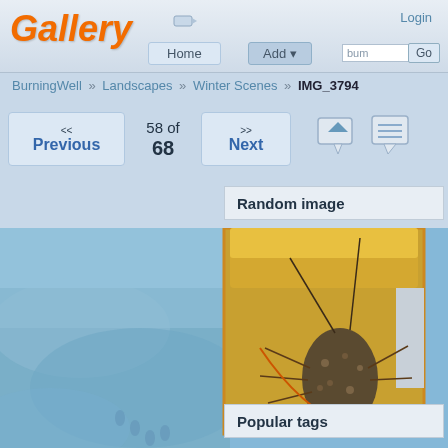Gallery | Login | Home | Add | bum | Go
BurningWell » Landscapes » Winter Scenes » IMG_3794
<< Previous | 58 of 68 | >> Next
Random image
[Figure (photo): Winter snowy landscape scene as background, with an overlaid photograph of a longhorn beetle insect on a yellow surface]
Popular tags